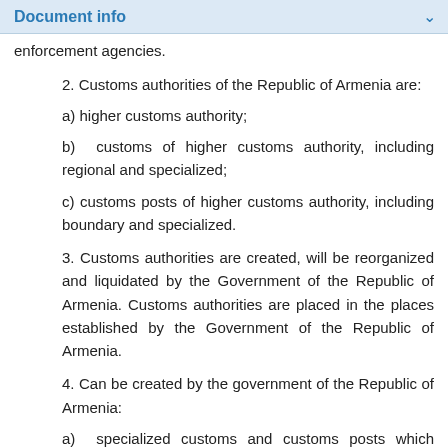Document info
enforcement agencies.
2. Customs authorities of the Republic of Armenia are:
a) higher customs authority;
b) customs of higher customs authority, including regional and specialized;
c) customs posts of higher customs authority, including boundary and specialized.
3. Customs authorities are created, will be reorganized and liquidated by the Government of the Republic of Armenia. Customs authorities are placed in the places established by the Government of the Republic of Armenia.
4. Can be created by the government of the Republic of Armenia:
a) specialized customs and customs posts which competences are limited to the powers assigned to customs